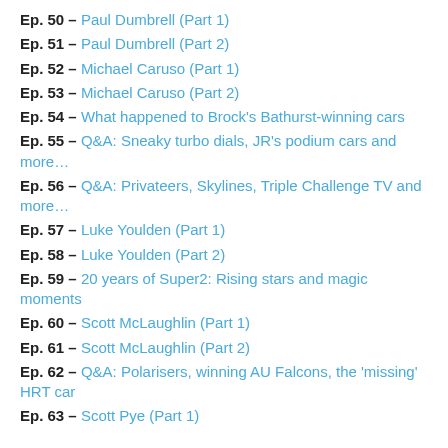Ep. 50 – Paul Dumbrell (Part 1)
Ep. 51 – Paul Dumbrell (Part 2)
Ep. 52 – Michael Caruso (Part 1)
Ep. 53 – Michael Caruso (Part 2)
Ep. 54 – What happened to Brock's Bathurst-winning cars
Ep. 55 – Q&A: Sneaky turbo dials, JR's podium cars and more…
Ep. 56 – Q&A: Privateers, Skylines, Triple Challenge TV and more…
Ep. 57 – Luke Youlden (Part 1)
Ep. 58 – Luke Youlden (Part 2)
Ep. 59 – 20 years of Super2: Rising stars and magic moments
Ep. 60 – Scott McLaughlin (Part 1)
Ep. 61 – Scott McLaughlin (Part 2)
Ep. 62 – Q&A: Polarisers, winning AU Falcons, the 'missing' HRT car
Ep. 63 – Scott Pye (Part 1)